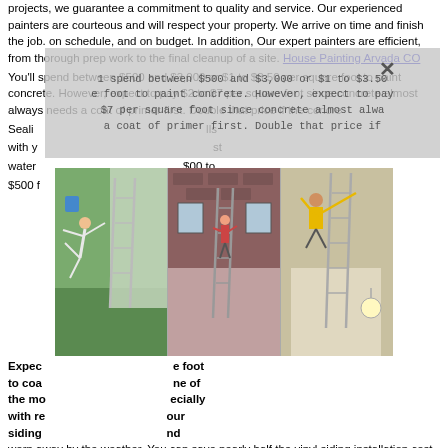projects, we guarantee a commitment to quality and service. Our experienced painters are courteous and will respect your property. We arrive on time and finish the job. on schedule, and on budget. In addition, Our expert painters are efficient, from thorough prep work to the final cleanup of a site. House Painting Arvada CO
You'll spend between $500 and $3,000 or $1 to $3.50 per square foot to paint concrete. However, expect to pay $2 to $7 per square foot since concrete almost always needs a coat of primer first. Double that price if the concrete
Sealing walls with y...ost water...$00 to $500 f... ing
[Figure (photo): Three photos side by side of painters on ladders outside houses and an indoor scene]
Expect...e foot to coat...ne of the mo...ecially with re...our siding...nd worn away by the weather. You can save nearly half the vinyl siding installation cost of $4 per square foot by painting rather than replacing. Before adding a new coat to vinyl siding, House Painting Arvada